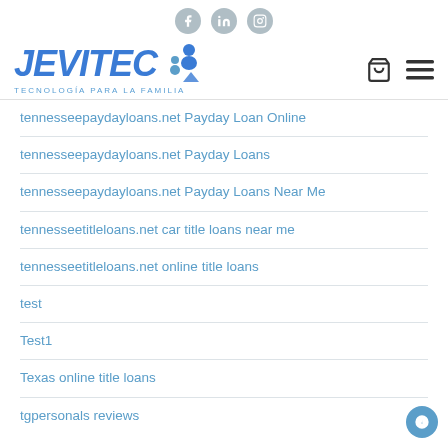JEVITEC TECNOLOGÍA PARA LA FAMILIA — social icons: facebook, linkedin, instagram — cart and menu icons
tennesseepaydayloans.net Payday Loan Online
tennesseepaydayloans.net Payday Loans
tennesseepaydayloans.net Payday Loans Near Me
tennesseetitleloans.net car title loans near me
tennesseetitleloans.net online title loans
test
Test1
Texas online title loans
tgpersonals reviews